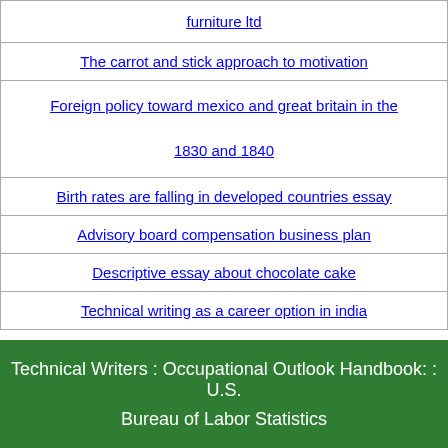| furniture ltd |
| The carrot and stick approach to motivation |
| Foreign policy toward mexico and great britain in the 1830 and 1840 |
| Birth rates are falling in developed countries essay |
| Advisory board compensation business plan |
| Descriptive essay about chocolate cake |
| Technical writing as a career option in india |
Technical Writers : Occupational Outlook Handbook: : U.S. Bureau of Labor Statistics